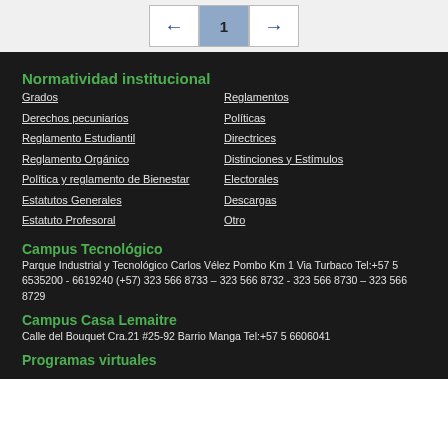← 1 →
Normatividad institucional
Grados
Derechos pecuniarios
Reglamento Estudiantil
Reglamento Orgánico
Política y reglamento de Bienestar
Estatutos Generales
Estatuto Profesoral
Reglamentos
Políticas
Directrices
Distinciones y Estímulos
Electorales
Descargas
Otro
Campus Tecnológico
Parque Industrial y Tecnológico Carlos Vélez Pombo Km 1 Via Turbaco Tel:+57 5 6535200 - 6619240 (+57) 323 566 8733 – 323 566 8732 - 323 566 8730 – 323 566 8729
Campus Casa Lemaitre
Calle del Bouquet Cra.21 #25-92 Barrio Manga Tel:+57 5 6606041
Programas virtuales